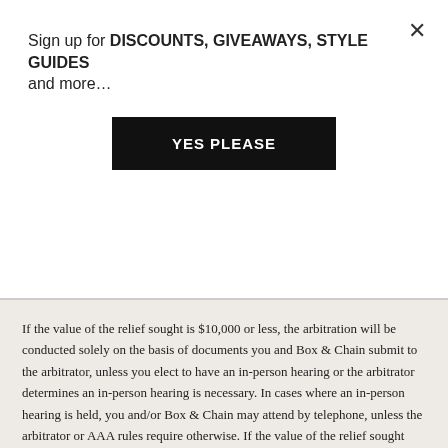Sign up for DISCOUNTS, GIVEAWAYS, STYLE GUIDES and more…
YES PLEASE
If the value of the relief sought is $10,000 or less, the arbitration will be conducted solely on the basis of documents you and Box & Chain submit to the arbitrator, unless you elect to have an in-person hearing or the arbitrator determines an in-person hearing is necessary. In cases where an in-person hearing is held, you and/or Box & Chain may attend by telephone, unless the arbitrator or AAA rules require otherwise. If the value of the relief sought exceeds $10,000, the right to an in-person hearing will be governed by the AAA rules.
The arbitrator will decide the substance of all claims in